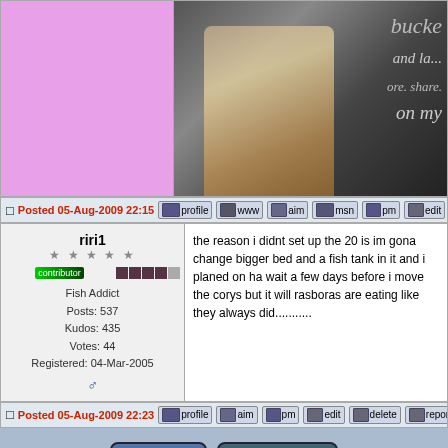[Figure (screenshot): Forum post layout with pink avatar cell and anime banner image on the right]
Posted 05-Aug-2009 22:15 [profile] [www] [aim] [msn] [pm] [edit] [delete] [re...]
riri1
★★★★★
contributor
Fish Addict
Posts: 537
Kudos: 435
Votes: 44
Registered: 04-Mar-2005
the reason i didnt set up the 20 is im gona change bigger bed and a fish tank in it and i planed on ha wait a few days before i move the corys but it will rasboras are eating like they always did...........
Posted 05-Aug-2009 22:23 [profile] [aim] [pm] [edit] [delete] [report post]
The views expressed on this page are the implied opinions of their respective authors. Under no circumstances do the comments on this page represent the opinions of the staff of FishProfiles.com.
FishProfiles.com Forums, version 11.0
Mazeguy Smilies
Walk My Plank - Free Pirate Role Playing Game | Mazeguy Smilies
FishProfiles.com © 1997-2022 Adam Lundie.